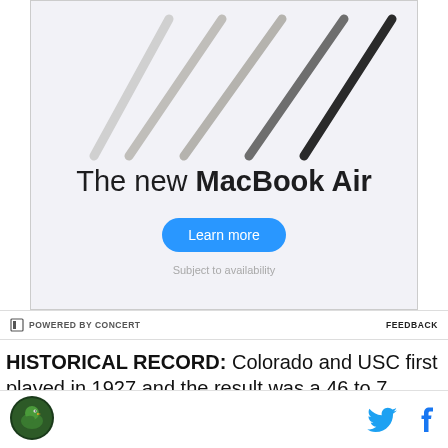[Figure (photo): Advertisement for the new MacBook Air showing multiple MacBook Air laptops in different colors (white/silver, gray, dark) fanned out from bottom-left to upper-right against a light gray background, with text 'The new MacBook Air' and a 'Learn more' blue button, and 'Subject to availability' text below.]
⊡ POWERED BY CONCERT   FEEDBACK
HISTORICAL RECORD: Colorado and USC first played in 1927 and the result was a 46 to 7 victory for
[Figure (logo): Site logo - circular green/dark logo with bird/animal design]
[Figure (illustration): Twitter bird icon (blue) and Facebook 'f' icon (dark) social sharing buttons]